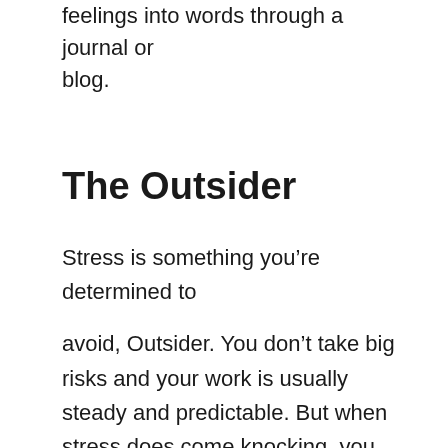feelings into words through a journal or blog.
The Outsider
Stress is something you're determined to avoid, Outsider. You don't take big risks and your work is usually steady and predictable. But when stress does come knocking, you may be less adept at managing it than some of the other signs. It can find you off guard. You have a tendency to sink into pessimist thinking when this happens, and that can cause stress to